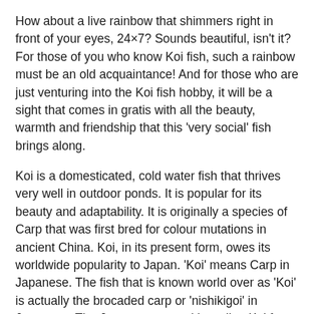How about a live rainbow that shimmers right in front of your eyes, 24×7? Sounds beautiful, isn't it? For those of you who know Koi fish, such a rainbow must be an old acquaintance! And for those who are just venturing into the Koi fish hobby, it will be a sight that comes in gratis with all the beauty, warmth and friendship that this ‘very social’ fish brings along.
Koi is a domesticated, cold water fish that thrives very well in outdoor ponds. It is popular for its beauty and adaptability. It is originally a species of Carp that was first bred for colour mutations in ancient China. Koi, in its present form, owes its worldwide popularity to Japan. ‘Koi’ means Carp in Japanese. The fish that is known world over as ‘Koi’ is actually the brocaded carp or ‘nishikigoi’ in Japanese. The Japanese started breeding Koi for colour in early the 19th century. The hobby spread all over Japan in the early 1900s, after the fish was exhibited in the annual exposition in Tokyo. Eventually, the Koi journeyed to various parts of the world.